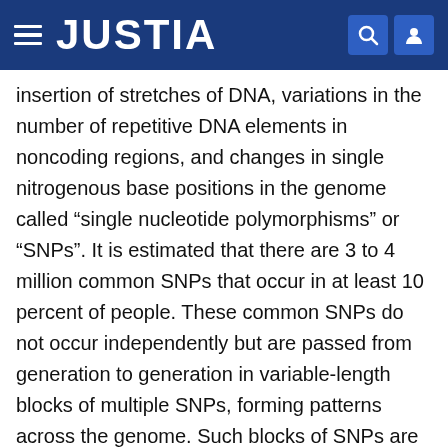JUSTIA
insertion of stretches of DNA, variations in the number of repetitive DNA elements in noncoding regions, and changes in single nitrogenous base positions in the genome called “single nucleotide polymorphisms” or “SNPs”. It is estimated that there are 3 to 4 million common SNPs that occur in at least 10 percent of people. These common SNPs do not occur independently but are passed from generation to generation in variable-length blocks of multiple SNPs, forming patterns across the genome. Such blocks of SNPs are called SNP haplotype blocks herein.
The candidate gene identification strategy most relevant to SNPs is whole-genome association of various populations of individuals—that is, scanning the entire genomes of populations of individuals to correlate SNPs to disease or drug response. Such whole-genome